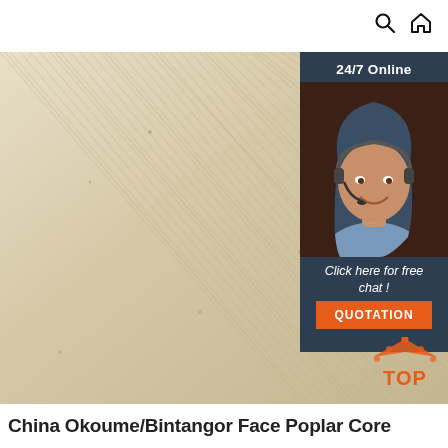Search | Home
[Figure (photo): Close-up photo of wood veneer plywood sheet with light grain texture, showing Okoume/Bintangor face with poplar core. Overlay panel on right shows a customer service agent with headset and '24/7 Online' label, 'Click here for free chat!' text, and orange QUOTATION button. Bottom right corner shows a 'TOP' logo in orange.]
China Okoume/Bintangor Face Poplar Core